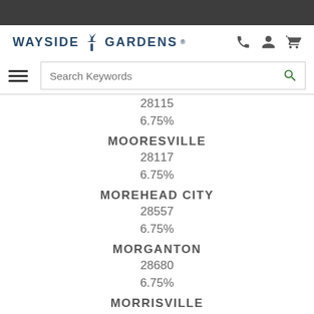[Figure (logo): Wayside Gardens logo with windmill icon]
Search Keywords
28115
6.75%
MOORESVILLE
28117
6.75%
MOREHEAD CITY
28557
6.75%
MORGANTON
28680
6.75%
MORRISVILLE
27560
7.25%
MOUNT AIRY